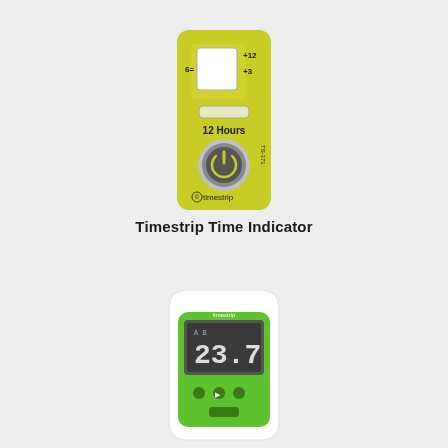[Figure (photo): Timestrip time indicator device — a small yellow-green rectangular card with a window showing progress markers at 6, +3, and +12, a small viewing window, bold text '12 Hours', a circular power button, and 'timestrip' branding at the bottom. Product code TS-171 visible on side.]
Timestrip Time Indicator
[Figure (photo): Digital thermometer device with white outer casing and green front panel. A large LCD display shows '23.7'. Small buttons visible on the green panel. 'Timestrip' branding at top of green section.]